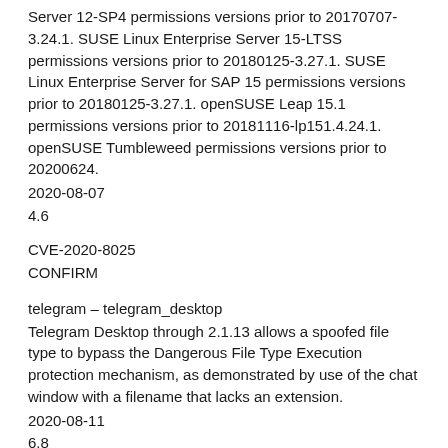Server 12-SP4 permissions versions prior to 20170707-3.24.1. SUSE Linux Enterprise Server 15-LTSS permissions versions prior to 20180125-3.27.1. SUSE Linux Enterprise Server for SAP 15 permissions versions prior to 20180125-3.27.1. openSUSE Leap 15.1 permissions versions prior to 20181116-lp151.4.24.1. openSUSE Tumbleweed permissions versions prior to 20200624.
2020-08-07
4.6
CVE-2020-8025
CONFIRM
telegram – telegram_desktop
Telegram Desktop through 2.1.13 allows a spoofed file type to bypass the Dangerous File Type Execution protection mechanism, as demonstrated by use of the chat window with a filename that lacks an extension.
2020-08-11
6.8
CVE-2020-17448
MISC